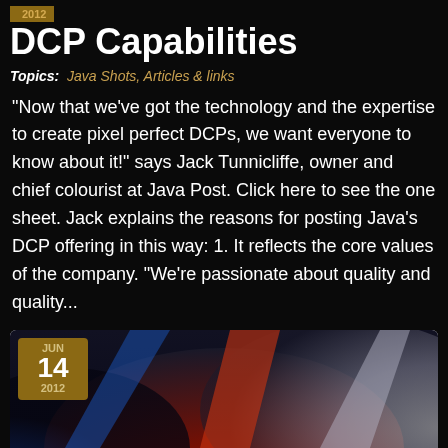2012
DCP Capabilities
Topics: Java Shots, Articles & links
"Now that we've got the technology and the expertise to create pixel perfect DCPs, we want everyone to know about it!" says Jack Tunnicliffe, owner and chief colourist at Java Post. Click here to see the one sheet. Jack explains the reasons for posting Java's DCP offering in this way: 1. It reflects the core values of the company. "We're passionate about quality and quality...
+ FULL POST
[Figure (photo): Abstract colorful image with red, blue, and grey/white light streaks on dark background, partially visible at bottom of page. Overlaid with a date badge showing JUN 14 2012.]